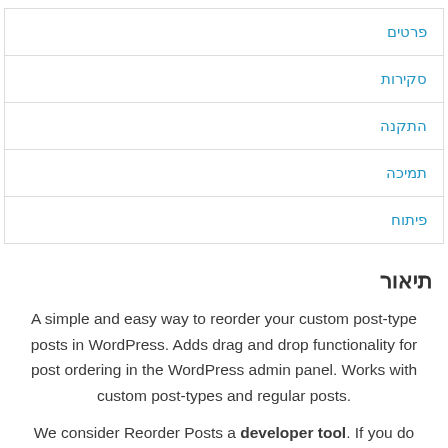פרטים
סקירות
התקנה
תמיכה
פיתוח
תיאור
A simple and easy way to reorder your custom post-type posts in WordPress. Adds drag and drop functionality for post ordering in the WordPress admin panel. Works with custom post-types and regular posts.
We consider Reorder Posts a developer tool. If you do